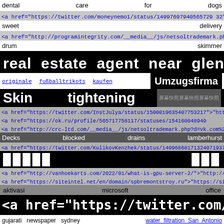dental care for dogs
<a href="https://twitter.com/moneynemo1/status/14997697940565729 32">"ht
sweet delivery
<a href="http://programintegrity.com/__media__/js/netsoltrademark.php?d=vk
drum skimmer
real estate agent near glendora
originale fußballtrikots kaufen   Umzugsfirma
Skin tightening
<a href="https://twitter.com/InstJulya/status/150001963540775 3217">"https:/
<a href="https://ok.ru/profile/565717758117/statuses/15416004894
<a href="http://crc-ltd.com/__media__/js/netsoltrademark.php?d=vk.com%2Fv
Decks blocked drains lamberhurst
<a href="https://twitter.com/KulikovKenzhek/status/14996868171324071937?t=
█████  ███
<a href="http://vanhoekarts.com/2022/01/what-is-gpu-server-2/">"http://vanho
<a href="https://siteintel.net/en/domain/spbremontstroy.ru">"https://siteintel.ne
aktivasi microsoft office
<a href="https://twitter.com/Paul773388
gujarati newspaper sydney   water filtration San Antonio
ez money loan near me   dental assistant salary
<a href="https://24seviienmarketing.com/domain/ko-ra.ru">"https://24seviienm
coolsculpting in salt lake city   Racking Singapore
cctv drain survey oxted   Serigrafia   بالی  نور
<a href="https://ok.ru/profile/564608089336/statuses/15438012961